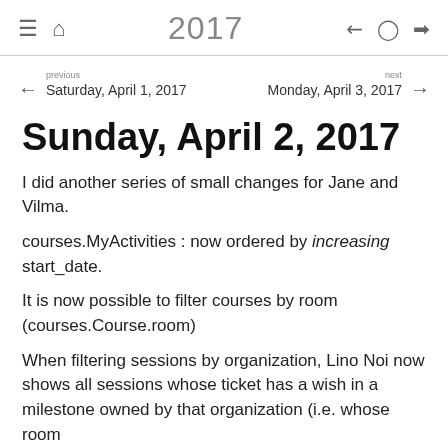2017
previous Saturday, April 1, 2017
next Monday, April 3, 2017
Sunday, April 2, 2017
I did another series of small changes for Jane and Vilma.
courses.MyActivities : now ordered by increasing start_date.
It is now possible to filter courses by room (courses.Course.room)
When filtering sessions by organization, Lino Noi now shows all sessions whose ticket has a wish in a milestone owned by that organization (i.e. whose room